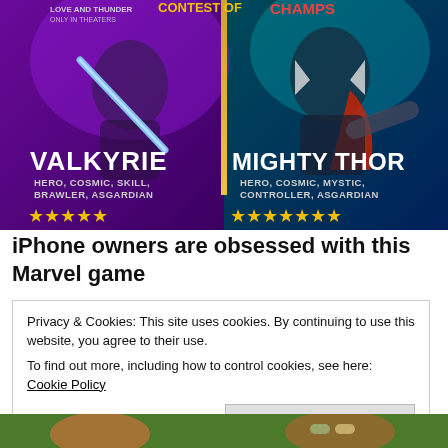[Figure (illustration): Marvel game advertisement showing two characters: Valkyrie (Hero, Cosmic, Skill, Brawler, Asgardian) with 5 stars on left, and Mighty Thor (Hero, Cosmic, Mystic, Controller, Asgardian) with 7 stars on right. Dark stylized game art with yellow star ratings at bottom.]
iPhone owners are obsessed with this Marvel game
Privacy & Cookies: This site uses cookies. By continuing to use this website, you agree to their use.
To find out more, including how to control cookies, see here: Cookie Policy
Close and accept
[Figure (photo): Bottom strip showing partial image with green background, partially cropped faces]